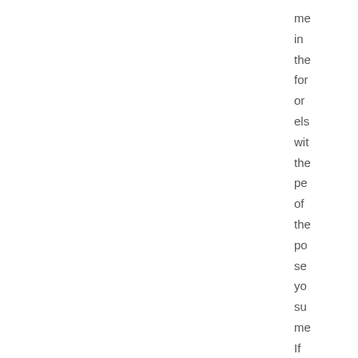me
in
the
for
or
els
wit
the
pe
of
the
po
se
yo
su
me
If
a
pri
me
is
ina